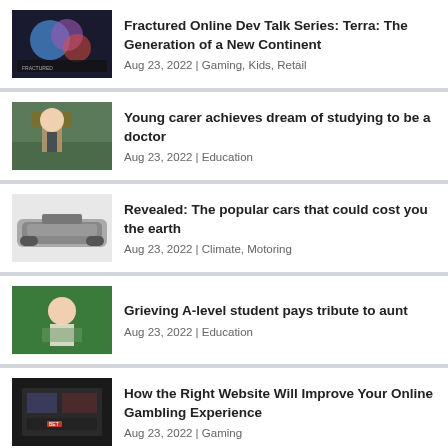Fractured Online Dev Talk Series: Terra: The Generation of a New Continent
Aug 23, 2022 | Gaming, Kids, Retail
Young carer achieves dream of studying to be a doctor
Aug 23, 2022 | Education
Revealed: The popular cars that could cost you the earth
Aug 23, 2022 | Climate, Motoring
Grieving A-level student pays tribute to aunt
Aug 23, 2022 | Education
How the Right Website Will Improve Your Online Gambling Experience
Aug 23, 2022 | Gaming